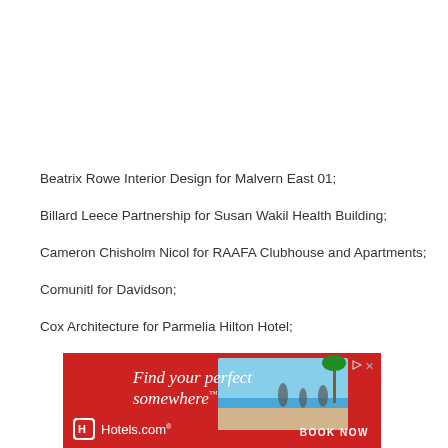Beatrix Rowe Interior Design for Malvern East 01;
Billard Leece Partnership for Susan Wakil Health Building;
Cameron Chisholm Nicol for RAAFA Clubhouse and Apartments;
Comunitl for Davidson;
Cox Architecture for Parmelia Hilton Hotel;
[Figure (illustration): Hotels.com advertisement banner with red background, beach photo, 'Find your perfect somewhere' text, Hotels.com logo, and 'BOOK NOW' call to action]